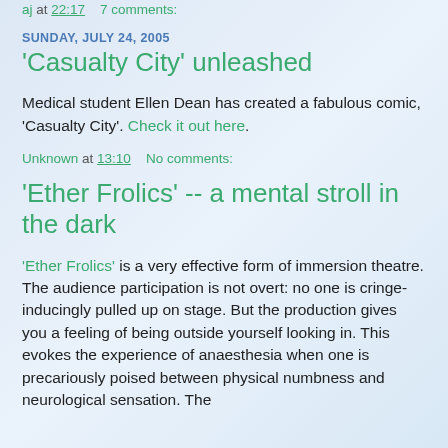aj at 22:17    7 comments:
SUNDAY, JULY 24, 2005
'Casualty City' unleashed
Medical student Ellen Dean has created a fabulous comic, 'Casualty City'. Check it out here.
Unknown at 13:10    No comments:
'Ether Frolics' -- a mental stroll in the dark
'Ether Frolics' is a very effective form of immersion theatre. The audience participation is not overt: no one is cringe-inducingly pulled up on stage. But the production gives you a feeling of being outside yourself looking in. This evokes the experience of anaesthesia when one is precariously poised between physical numbness and neurological sensation. The